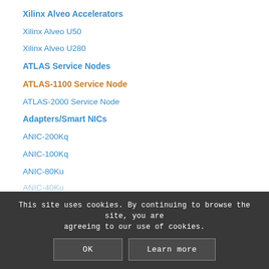Xilinx Alveo Accelerators
Xilinx Alveo U50
Xilinx Alveo U280
ATLAS Service Nodes
ATLAS-1100 Service Node
ATLAS-2000 Service Node
Adapters/Smart NICs
ANIC-200Kq
ANIC-100Kq
ANIC-80Ku
ANIC-40Ku
ANIC-40Kq
ANIC-20Ku
ANIC-4Ku
This site uses cookies. By continuing to browse the site, you are agreeing to our use of cookies.